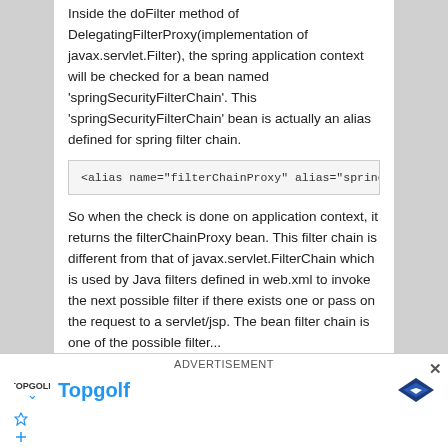Inside the doFilter method of DelegatingFilterProxy(implementation of javax.servlet.Filter), the spring application context will be checked for a bean named 'springSecurityFilterChain'. This 'springSecurityFilterChain' bean is actually an alias defined for spring filter chain.
<alias name="filterChainProxy" alias="springS
So when the check is done on application context, it returns the filterChainProxy bean. This filter chain is different from that of javax.servlet.FilterChain which is used by Java filters defined in web.xml to invoke the next possible filter if there exists one or pass on the request to a servlet/jsp. The bean filter chain...